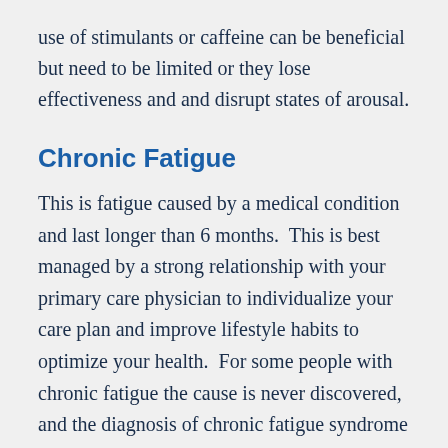use of stimulants or caffeine can be beneficial but need to be limited or they lose effectiveness and and disrupt states of arousal.
Chronic Fatigue
This is fatigue caused by a medical condition and last longer than 6 months.  This is best managed by a strong relationship with your primary care physician to individualize your care plan and improve lifestyle habits to optimize your health.  For some people with chronic fatigue the cause is never discovered, and the diagnosis of chronic fatigue syndrome may be appropriate whether or not the specific criteria is met.[ii]